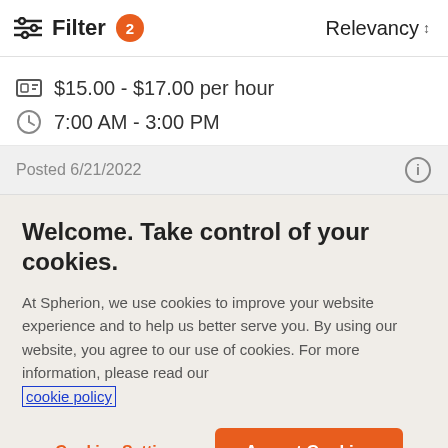Filter 2  Relevancy
$15.00 - $17.00 per hour
7:00 AM - 3:00 PM
Posted 6/21/2022
Welcome. Take control of your cookies.
At Spherion, we use cookies to improve your website experience and to help us better serve you. By using our website, you agree to our use of cookies. For more information, please read our cookie policy
Cookies Settings
Accept Cookies